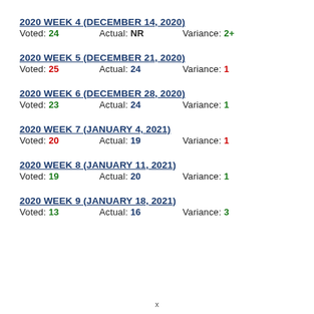2020 Week 4 (December 14, 2020)
Voted: 24    Actual: NR    Variance: 2+
2020 Week 5 (December 21, 2020)
Voted: 25    Actual: 24    Variance: 1
2020 Week 6 (December 28, 2020)
Voted: 23    Actual: 24    Variance: 1
2020 Week 7 (January 4, 2021)
Voted: 20    Actual: 19    Variance: 1
2020 Week 8 (January 11, 2021)
Voted: 19    Actual: 20    Variance: 1
2020 Week 9 (January 18, 2021)
Voted: 13    Actual: 16    Variance: 3
x